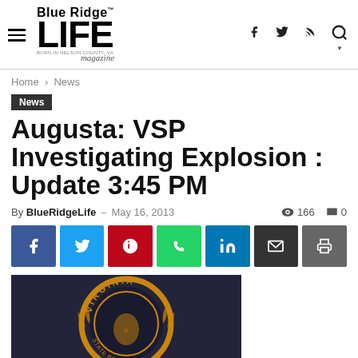Blue Ridge LIFE magazine
Home › News
News
Augusta: VSP Investigating Explosion : Update 3:45 PM
By BlueRidgeLife – May 16, 2013  👁 166  💬 0
[Figure (other): Virginia State Police circular emblem/badge patch with gold embroidery on dark background showing 'VIRGINIA' text and state seal]
[Figure (infographic): Social media share buttons row: Facebook, Twitter, Pinterest, WhatsApp, LinkedIn, Email, Print]